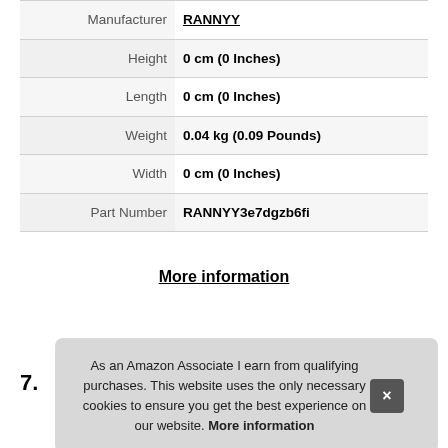| Attribute | Value |
| --- | --- |
| Manufacturer | RANNYY |
| Height | 0 cm (0 Inches) |
| Length | 0 cm (0 Inches) |
| Weight | 0.04 kg (0.09 Pounds) |
| Width | 0 cm (0 Inches) |
| Part Number | RANNYY3e7dgzb6fi |
More information
7.
As an Amazon Associate I earn from qualifying purchases. This website uses the only necessary cookies to ensure you get the best experience on our website. More information